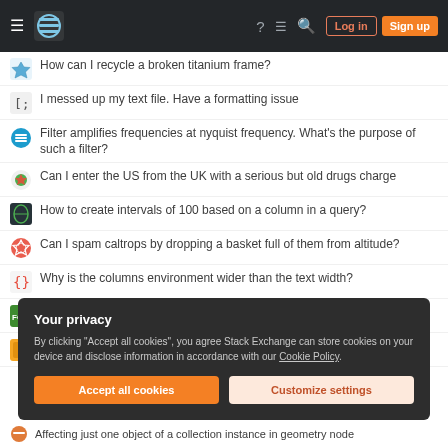Stack Exchange navigation bar with hamburger, logo, help, chat, search, Log in, Sign up
How can I recycle a broken titanium frame?
I messed up my text file. Have a formatting issue
Filter amplifies frequencies at nyquist frequency. What's the purpose of such a filter?
Can I enter the US from the UK with a serious but old drugs charge
How to create intervals of 100 based on a column in a query?
Can I spam caltrops by dropping a basket full of them from altitude?
Why is the columns environment wider than the text width?
Etiquette for an incorrect PR
In Chopin Marche funèbre, measure 19, on right hand, is the A flat
Your privacy
By clicking "Accept all cookies", you agree Stack Exchange can store cookies on your device and disclose information in accordance with our Cookie Policy.
Affecting just one object of a collection instance in geometry node